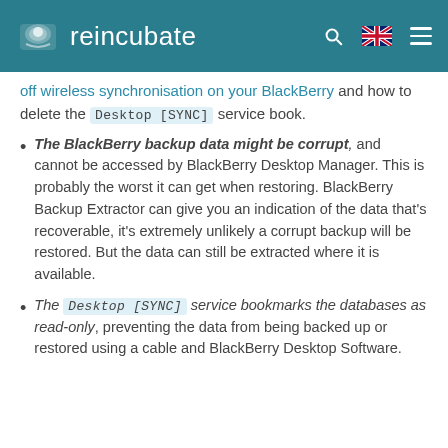reincubate
off wireless synchronisation on your BlackBerry and how to delete the Desktop [SYNC] service book.
The BlackBerry backup data might be corrupt, and cannot be accessed by BlackBerry Desktop Manager. This is probably the worst it can get when restoring. BlackBerry Backup Extractor can give you an indication of the data that's recoverable, it's extremely unlikely a corrupt backup will be restored. But the data can still be extracted where it is available.
The Desktop [SYNC] service bookmarks the databases as read-only, preventing the data from being backed up or restored using a cable and BlackBerry Desktop Software.